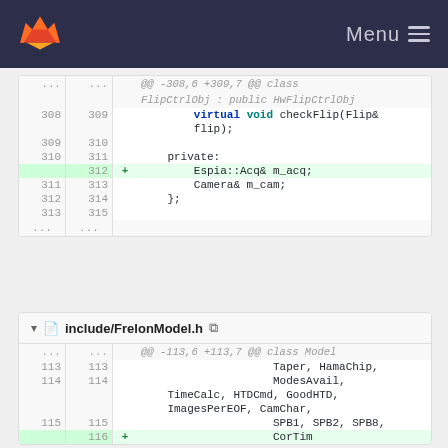GitLab — Menu
[Figure (screenshot): Code diff view showing two file changes. First diff shows FlipCtrlObj class with added line: Espia::Acq& m_acq. Second diff shows include/FrelonModel.h with changes to class Model enum list including Taper, HamaChip, ModesAvail, TimeCalc, HTDCmd, GoodHTD, ImagesPerEOF, CamChar, SPB1, SPB2, SPB8.]